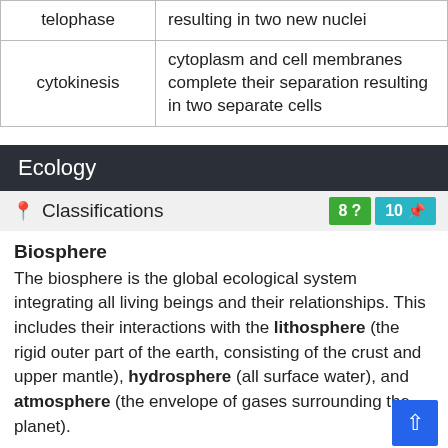|  |  |
| --- | --- |
| telophase | resulting in two new nuclei |
| cytokinesis | cytoplasm and cell membranes complete their separation resulting in two separate cells |
Ecology
Classifications  8 ?  10
Biosphere
The biosphere is the global ecological system integrating all living beings and their relationships. This includes their interactions with the lithosphere (the rigid outer part of the earth, consisting of the crust and upper mantle), hydrosphere (all surface water), and atmosphere (the envelope of gases surrounding the planet).
Biome